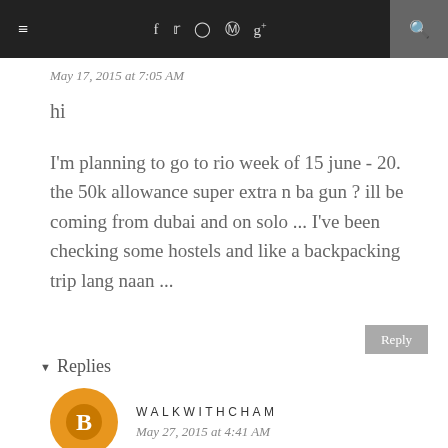≡  f  t  (instagram)  (pinterest)  g+  (search)
May 17, 2015 at 7:05 AM
hi
I'm planning to go to rio week of 15 june - 20. the 50k allowance super extra n ba gun ? ill be coming from dubai and on solo ... I've been checking some hostels and like a backpacking trip lang naan ...
Reply
▾ Replies
WALKWITHCHAM
May 27, 2015 at 4:41 AM